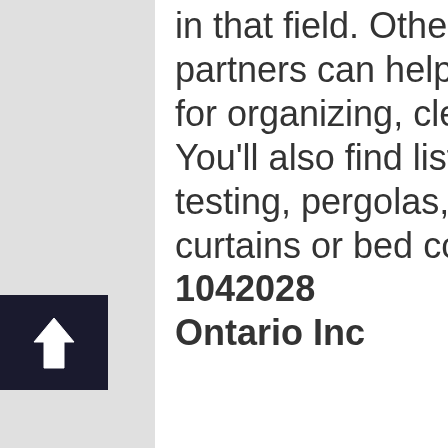in that field. Others of our Home and Garden partners can help you with things like guides for organizing, cleaning, planting and caring. You'll also find listing that specialize in soil testing, pergolas, hose sprinklers or maybe curtains or bed covers. 1042028 Ontario Inc
[Figure (other): Dark square button with upward arrow icon]